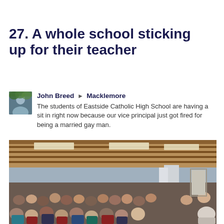27. A whole school sticking up for their teacher
John Breed ▶ Macklemore
The students of Eastside Catholic High School are having a sit in right now because our vice principal just got fired for being a married gay man.
[Figure (photo): A large crowded school cafeteria or gymnasium filled with students sitting in protest, with a brown wood-paneled ceiling and fluorescent lights overhead.]